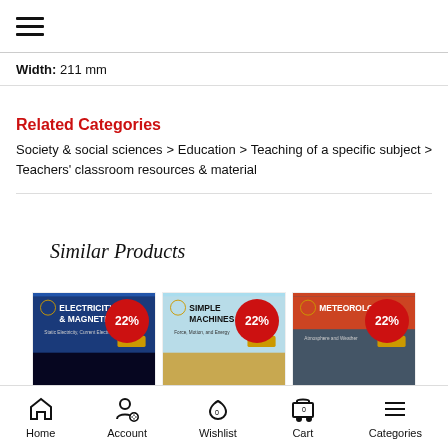☰
Width: 211 mm
Related Categories
Society & social sciences > Education > Teaching of a specific subject > Teachers' classroom resources & material
Similar Products
[Figure (photo): Three book product cards: Electricity & Magnetism, Simple Machines, Meteorology — each with a 22% discount badge]
Home   Account   Wishlist 0   Cart 0   Categories